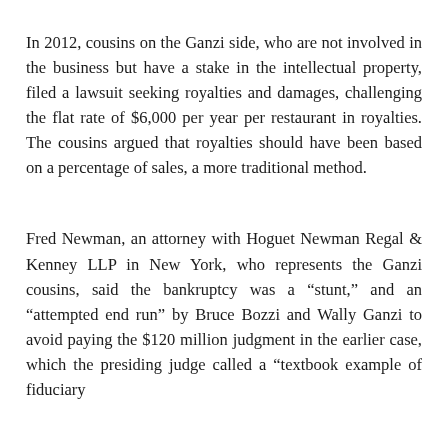In 2012, cousins on the Ganzi side, who are not involved in the business but have a stake in the intellectual property, filed a lawsuit seeking royalties and damages, challenging the flat rate of $6,000 per year per restaurant in royalties. The cousins argued that royalties should have been based on a percentage of sales, a more traditional method.
Fred Newman, an attorney with Hoguet Newman Regal & Kenney LLP in New York, who represents the Ganzi cousins, said the bankruptcy was a “stunt,” and an “attempted end run” by Bruce Bozzi and Wally Ganzi to avoid paying the $120 million judgment in the earlier case, which the presiding judge called a “textbook example of fiduciary